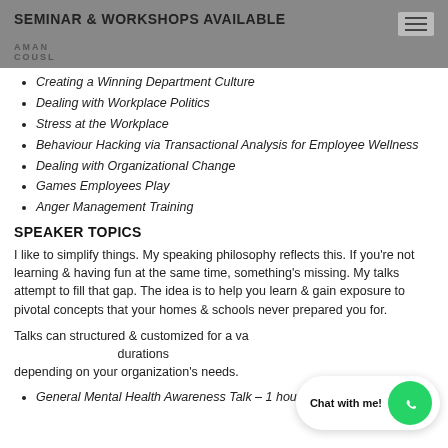SEMINAR & WORKSHOPS AVAILABLE
Creating a Winning Department Culture
Dealing with Workplace Politics
Stress at the Workplace
Behaviour Hacking via Transactional Analysis for Employee Wellness
Dealing with Organizational Change
Games Employees Play
Anger Management Training
SPEAKER TOPICS
I like to simplify things. My speaking philosophy reflects this. If you're not learning & having fun at the same time, something's missing. My talks attempt to fill that gap. The idea is to help you learn & gain exposure to pivotal concepts that your homes & schools never prepared you for.
Talks can structured & customized for a variety of durations depending on your organization's needs.
General Mental Health Awareness Talk – 1 hour 30 mins